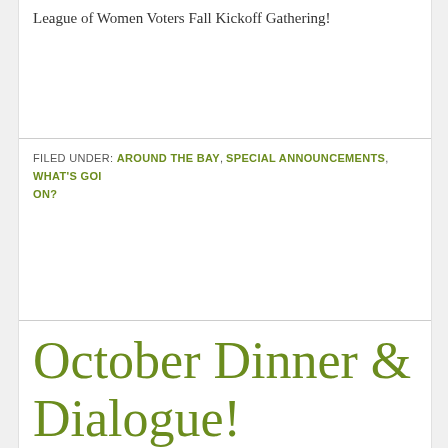League of Women Voters Fall Kickoff Gathering!
FILED UNDER: AROUND THE BAY, SPECIAL ANNOUNCEMENTS, WHAT'S GOING ON?
October Dinner & Dialogue!
SEPTEMBER 20, 2019 BY HRC SANTA MONICA
[Figure (illustration): Colorful utensils (forks and knives) in alternating colors: green, purple, red, blue, pink arranged in a row pattern]